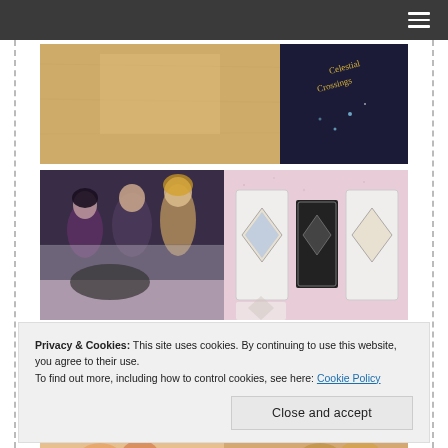Navigation bar with hamburger menu
[Figure (photo): Photo of books on a wooden table surface, with a dark book cover partially visible showing decorative text and illustrations]
[Figure (photo): Two side-by-side photos: left shows fantasy book art/print with illustrated characters in purple tones; right shows enamel pins on pink glitter background]
Privacy & Cookies: This site uses cookies. By continuing to use this website, you agree to their use.
To find out more, including how to control cookies, see here: Cookie Policy
Close and accept
[Figure (photo): Partial photo at bottom showing colorful illustrated artwork/prints]